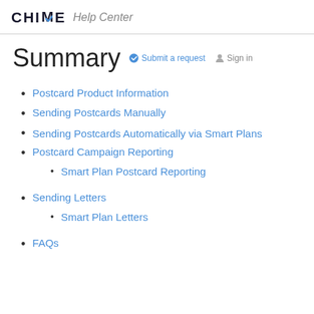CHIME Help Center
Summary
Submit a request  Sign in
Postcard Product Information
Sending Postcards Manually
Sending Postcards Automatically via Smart Plans
Postcard Campaign Reporting
Smart Plan Postcard Reporting
Sending Letters
Smart Plan Letters
FAQs